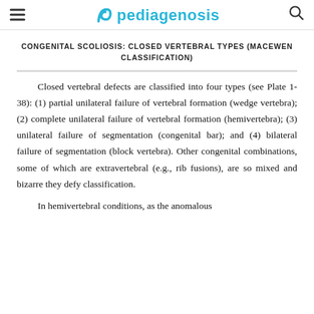pediagenosis
CONGENITAL SCOLIOSIS: CLOSED VERTEBRAL TYPES (MACEWEN CLASSIFICATION)
Closed vertebral defects are classified into four types (see Plate 1-38): (1) partial unilateral failure of vertebral formation (wedge vertebra); (2) complete unilateral failure of vertebral formation (hemivertebra); (3) unilateral failure of segmentation (congenital bar); and (4) bilateral failure of segmentation (block vertebra). Other congenital combinations, some of which are extravertebral (e.g., rib fusions), are so mixed and bizarre they defy classification.
In hemivertebral conditions, as the anomalous